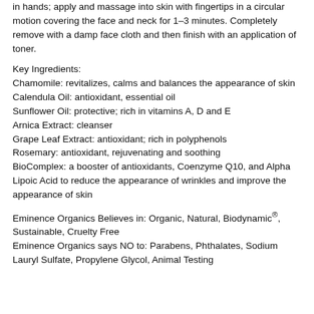in hands; apply and massage into skin with fingertips in a circular motion covering the face and neck for 1–3 minutes. Completely remove with a damp face cloth and then finish with an application of toner.
Key Ingredients:
Chamomile: revitalizes, calms and balances the appearance of skin
Calendula Oil: antioxidant, essential oil
Sunflower Oil: protective; rich in vitamins A, D and E
Arnica Extract: cleanser
Grape Leaf Extract: antioxidant; rich in polyphenols
Rosemary: antioxidant, rejuvenating and soothing
BioComplex: a booster of antioxidants, Coenzyme Q10, and Alpha Lipoic Acid to reduce the appearance of wrinkles and improve the appearance of skin
Eminence Organics Believes in: Organic, Natural, Biodynamic®, Sustainable, Cruelty Free
Eminence Organics says NO to: Parabens, Phthalates, Sodium Lauryl Sulfate, Propylene Glycol, Animal Testing